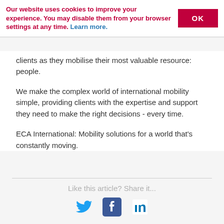Our website uses cookies to improve your experience. You may disable them from your browser settings at any time. Learn more.
clients as they mobilise their most valuable resource: people.
We make the complex world of international mobility simple, providing clients with the expertise and support they need to make the right decisions - every time.
ECA International: Mobility solutions for a world that's constantly moving.
Like this article? Share it...
[Figure (infographic): Social share icons: Twitter bird, Facebook logo, LinkedIn logo]